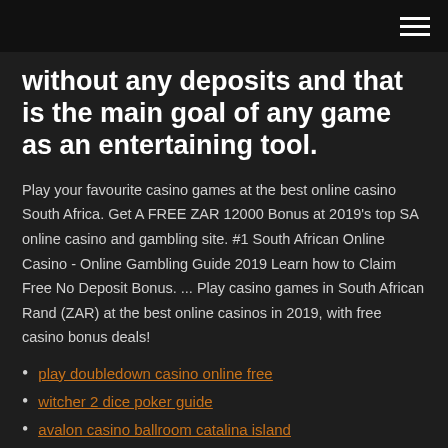without any deposits and that is the main goal of any game as an entertaining tool.
Play your favourite casino games at the best online casino South Africa. Get A FREE ZAR 12000 Bonus at 2019's top SA online casino and gambling site. #1 South African Online Casino - Online Gambling Guide 2019 Learn how to Claim Free No Deposit Bonus. ... Play casino games in South African Rand (ZAR) at the best online casinos in 2019, with free casino bonus deals!
play doubledown casino online free
witcher 2 dice poker guide
avalon casino ballroom catalina island